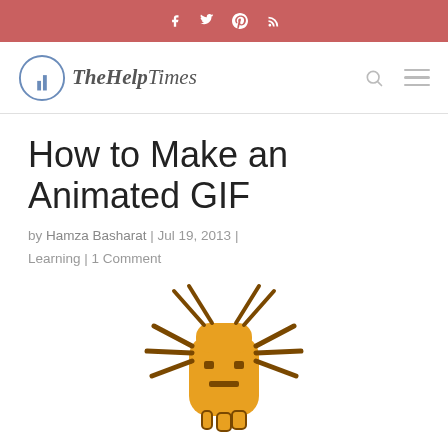f  t  g+  RSS — TheHelpTimes
How to Make an Animated GIF
by Hamza Basharat | Jul 19, 2013 | Learning | 1 Comment
[Figure (illustration): Pixelated animated bug/beetle graphic in orange and brown colors, shown from above with legs spread out]